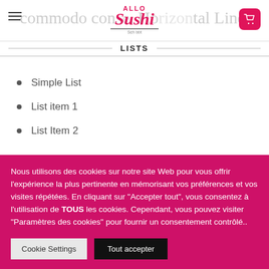Allo Sushi
LISTS
Simple List
List item 1
List Item 2
Nous utilisons des cookies sur notre site Web pour vous offrir l'expérience la plus pertinente en mémorisant vos préférences et vos visites répétées. En cliquant sur "Accepter tout", vous consentez à l'utilisation de TOUS les cookies. Cependant, vous pouvez visiter "Paramètres des cookies" pour fournir un consentement contrôlé..